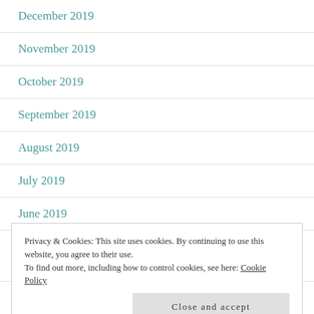December 2019
November 2019
October 2019
September 2019
August 2019
July 2019
June 2019
Privacy & Cookies: This site uses cookies. By continuing to use this website, you agree to their use.
To find out more, including how to control cookies, see here: Cookie Policy
Close and accept
March 2019